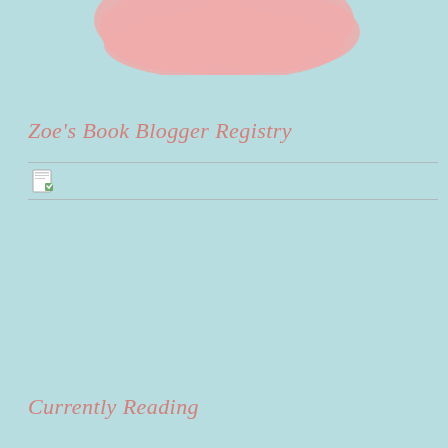[Figure (illustration): Pink blob/cloud shape at the top center of the page, decorative element]
Zoe's Book Blogger Registry
[Figure (screenshot): A search bar with a small file/page icon on the left, bordered top and bottom with light gray lines]
Currently Reading